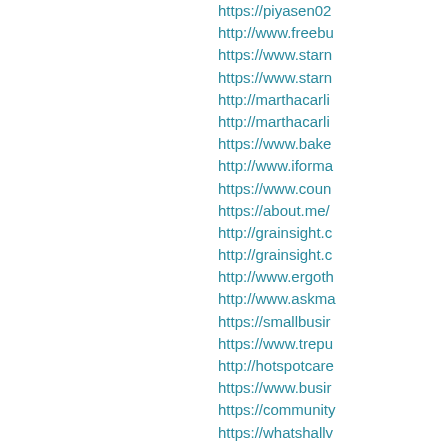https://piyasen02
http://www.freebu
https://www.starn
https://www.starn
http://marthacarli
http://marthacarli
https://www.bake
http://www.iforma
https://www.coun
https://about.me/
http://grainsight.c
http://grainsight.c
http://www.ergoth
http://www.askma
https://smallbusir
https://www.trepu
http://hotspotcare
https://www.busir
https://community
https://whatshallv
https://clarity.fm/p
https://www.scrib
https://www.prod
http://www.where